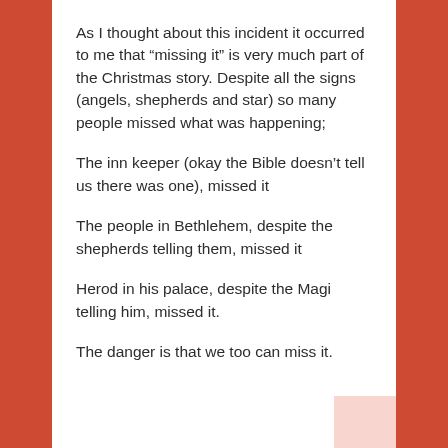As I thought about this incident it occurred to me that “missing it” is very much part of the Christmas story. Despite all the signs (angels, shepherds and star) so many people missed what was happening;
The inn keeper (okay the Bible doesn’t tell us there was one), missed it
The people in Bethlehem, despite the shepherds telling them, missed it
Herod in his palace, despite the Magi telling him, missed it.
The danger is that we too can miss it.